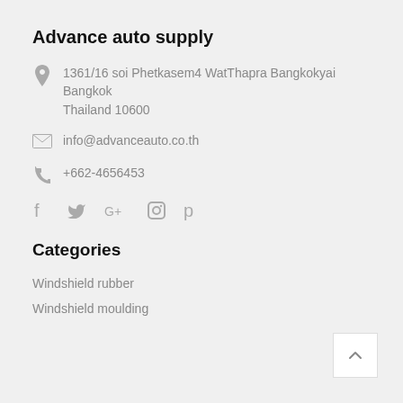Advance auto supply
1361/16 soi Phetkasem4 WatThapra Bangkokyai Bangkok Thailand 10600
info@advanceauto.co.th
+662-4656453
[Figure (other): Social media icons: Facebook, Twitter, Google+, Instagram, Pinterest]
Categories
Windshield rubber
Windshield moulding